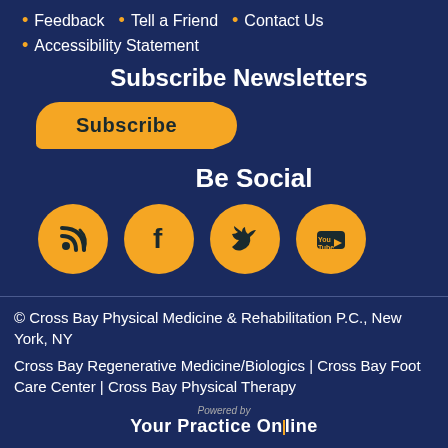Feedback
Tell a Friend
Contact Us
Accessibility Statement
Subscribe Newsletters
Subscribe
Be Social
[Figure (infographic): Four orange circular social media icons: blog/RSS, Facebook, Twitter, YouTube]
© Cross Bay Physical Medicine & Rehabilitation P.C., New York, NY
Cross Bay Regenerative Medicine/Biologics | Cross Bay Foot Care Center | Cross Bay Physical Therapy
Powered by Your Practice Online